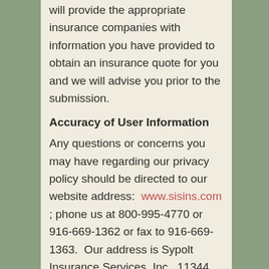will provide the appropriate insurance companies with information you have provided to obtain an insurance quote for you and we will advise you prior to the submission.
Accuracy of User Information
Any questions or concerns you may have regarding our privacy policy should be directed to our website address: www.sisins.com ; phone us at 800-995-4770 or 916-669-1362 or fax to 916-669-1363. Our address is Sypolt Insurance Services, Inc., 11344 Coloma Rd. #635, Gold River, CA 95670.